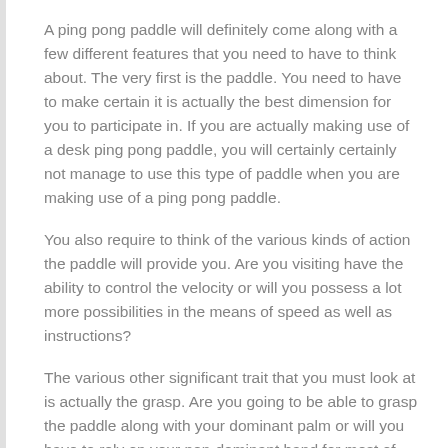A ping pong paddle will definitely come along with a few different features that you need to have to think about. The very first is the paddle. You need to have to make certain it is actually the best dimension for you to participate in. If you are actually making use of a desk ping pong paddle, you will certainly certainly not manage to use this type of paddle when you are making use of a ping pong paddle.
You also require to think of the various kinds of action the paddle will provide you. Are you visiting have the ability to control the velocity or will you possess a lot more possibilities in the means of speed as well as instructions?
The various other significant trait that you must look at is actually the grasp. Are you going to be able to grasp the paddle along with your dominant palm or will you have to rely on your non-dominant hand for most of the opportunity?
Currently, permit's discuss the paddle itself. How are